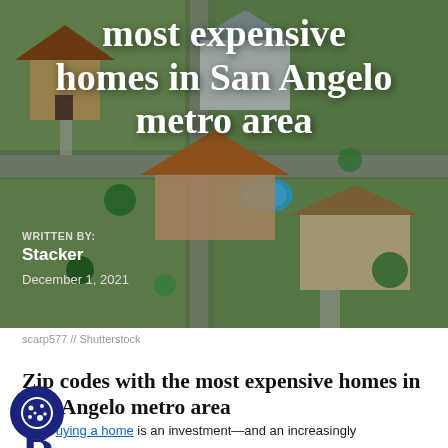[Figure (photo): Aerial view of suburban neighborhood with houses, pools, green lawns, and driveways viewed from above]
most expensive homes in San Angelo metro area
WRITTEN BY:
Stacker
December 1, 2021
scarp577 // Shutterstock
Zip codes with the most expensive homes in San Angelo metro area
Buying a home is an investment—and an increasingly